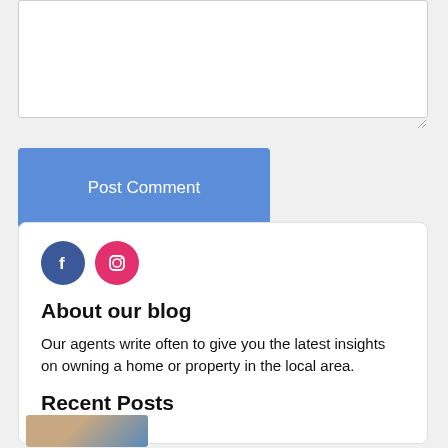[Figure (screenshot): Empty textarea input box for comment entry with resize handle in bottom-right corner]
[Figure (screenshot): Blue 'Post Comment' button]
[Figure (screenshot): White sidebar card containing Facebook and Instagram social icons, 'About our blog' section header, descriptive text, 'Recent Posts' section header, and a partial thumbnail image]
About our blog
Our agents write often to give you the latest insights on owning a home or property in the local area.
Recent Posts